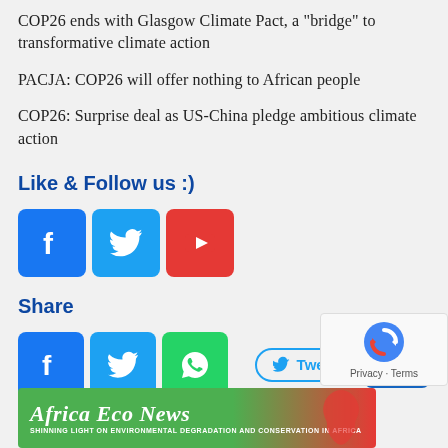COP26 ends with Glasgow Climate Pact, a “bridge” to transformative climate action
PACJA: COP26 will offer nothing to African people
COP26: Surprise deal as US-China pledge ambitious climate action
Like & Follow us :)
[Figure (infographic): Social media follow buttons: Facebook (blue), Twitter (blue), YouTube (red)]
Share
[Figure (infographic): Social media share buttons: Facebook (blue), Twitter (blue), WhatsApp (green), Tweet button (outlined), plus button (dark blue)]
About Us
[Figure (logo): Africa Eco News banner logo with green and red background, white text, Africa map silhouette, tagline: SHINNING LIGHT ON ENVIRONMENTAL DEGRADATION AND CONSERVATION IN AFRICA]